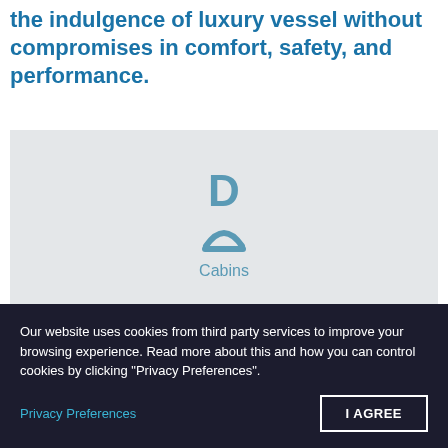the indulgence of luxury vessel without compromises in comfort, safety, and performance.
[Figure (illustration): Light grey placeholder image box with a stylized 'D' icon in teal above, a stylized curved icon in teal below it, and the label 'Cabins' in teal text underneath — appears to be a cabin count indicator for a Lagoon 52 catamaran product page.]
Our website uses cookies from third party services to improve your browsing experience. Read more about this and how you can control cookies by clicking "Privacy Preferences".
Privacy Preferences
I AGREE